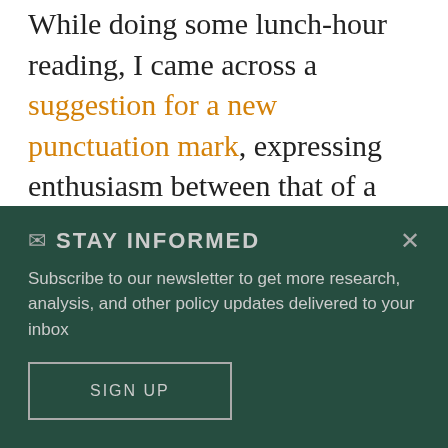While doing some lunch-hour reading, I came across a suggestion for a new punctuation mark, expressing enthusiasm between that of a period and an exclamation point. Then, I learned about the Interrobang to express incredulity. Say what‽
Eric
Something about text and a link...
✉ STAY INFORMED
Subscribe to our newsletter to get more research, analysis, and other policy updates delivered to your inbox
SIGN UP